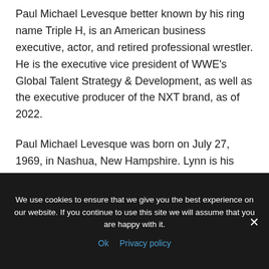Paul Michael Levesque better known by his ring name Triple H, is an American business executive, actor, and retired professional wrestler. He is the executive vice president of WWE's Global Talent Strategy & Development, as well as the executive producer of the NXT brand, as of 2022.
Paul Michael Levesque was born on July 27, 1969, in Nashua, New Hampshire. Lynn is his sister's name.
We use cookies to ensure that we give you the best experience on our website. If you continue to use this site we will assume that you are happy with it. Ok  Privacy policy